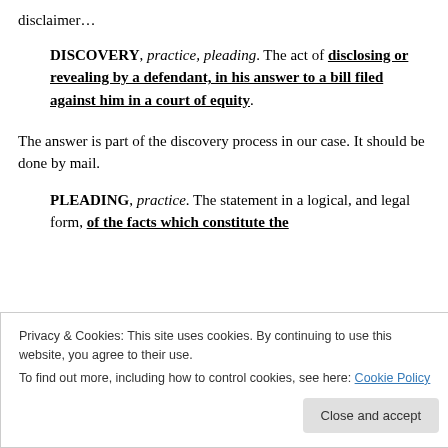disclaimer…
DISCOVERY, practice, pleading. The act of disclosing or revealing by a defendant, in his answer to a bill filed against him in a court of equity.
The answer is part of the discovery process in our case. It should be done by mail.
PLEADING, practice. The statement in a logical, and legal form, of the facts which constitute the
Privacy & Cookies: This site uses cookies. By continuing to use this website, you agree to their use.
To find out more, including how to control cookies, see here: Cookie Policy
Close and accept
it is that which either party to a suit at law alleges